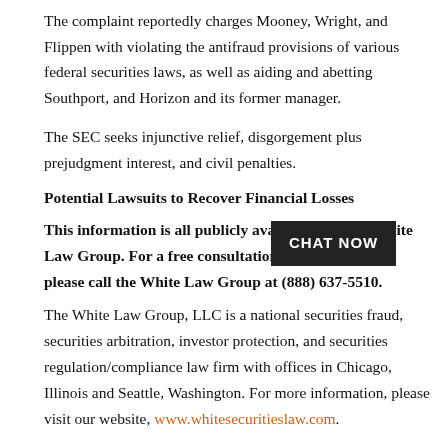The complaint reportedly charges Mooney, Wright, and Flippen with violating the antifraud provisions of various federal securities laws, as well as aiding and abetting Southport, and Horizon and its former manager.
The SEC seeks injunctive relief, disgorgement plus prejudgment interest, and civil penalties.
Potential Lawsuits to Recover Financial Losses
This information is all publicly available and [CHAT NOW button overlay] the White Law Group. For a free consultation with an attorney, please call the White Law Group at (888) 637-5510.
The White Law Group, LLC is a national securities fraud, securities arbitration, investor protection, and securities regulation/compliance law firm with offices in Chicago, Illinois and Seattle, Washington. For more information, please visit our website, www.whitesecuritieslaw.com.